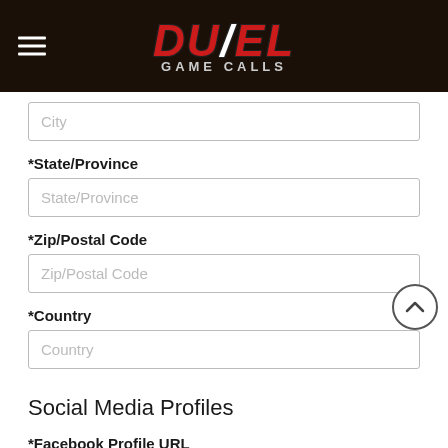DUEL GAME CALLS
City
*State/Province
State/Province
*Zip/Postal Code
Zip/Postal Code
*Country
Country
Social Media Profiles
*Facebook Profile URL